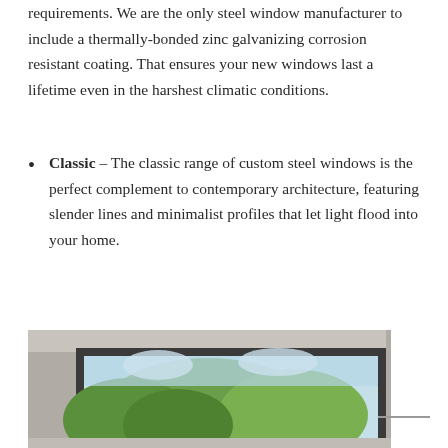requirements. We are the only steel window manufacturer to include a thermally-bonded zinc galvanizing corrosion resistant coating. That ensures your new windows last a lifetime even in the harshest climatic conditions.
Classic – The classic range of custom steel windows is the perfect complement to contemporary architecture, featuring slender lines and minimalist profiles that let light flood into your home.
[Figure (photo): Interior view through a steel-framed window showing green trees and blue sky outside. The window frame is dark grey/charcoal steel with slender profiles.]